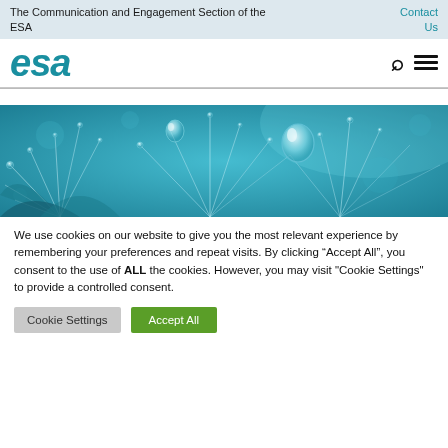The Communication and Engagement Section of the ESA | Contact Us
esa
[Figure (photo): Close-up macro photograph of water droplets on fine plant fibers/dandelion seeds against a teal/blue background]
We use cookies on our website to give you the most relevant experience by remembering your preferences and repeat visits. By clicking “Accept All”, you consent to the use of ALL the cookies. However, you may visit "Cookie Settings" to provide a controlled consent.
Cookie Settings | Accept All